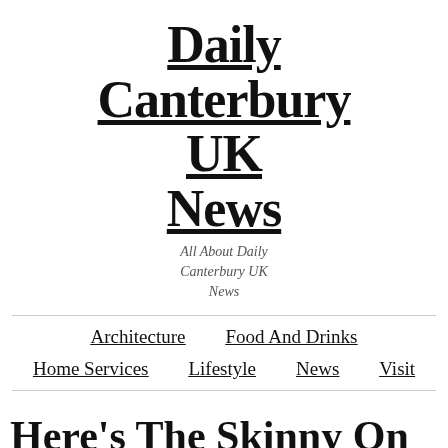Daily Canterbury UK News
All About Daily Canterbury UK News
Architecture   Food And Drinks   Home Services   Lifestyle   News   Visit
Here's The Skinny On Internet